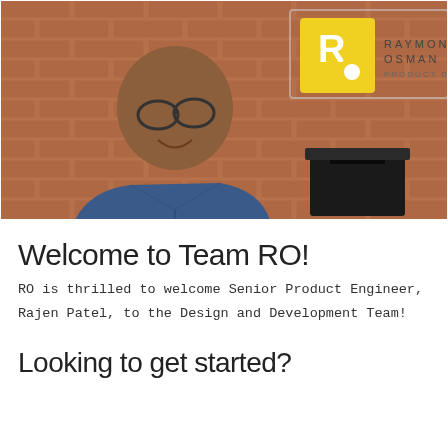[Figure (photo): A smiling bald man with glasses wearing a denim shirt, standing in front of a brick wall with a Raymont Osman Product Design logo sign visible in the background. A black mailbox is visible to the right.]
Welcome to Team RO!
RO is thrilled to welcome Senior Product Engineer, Rajen Patel, to the Design and Development Team!
Looking to get started?